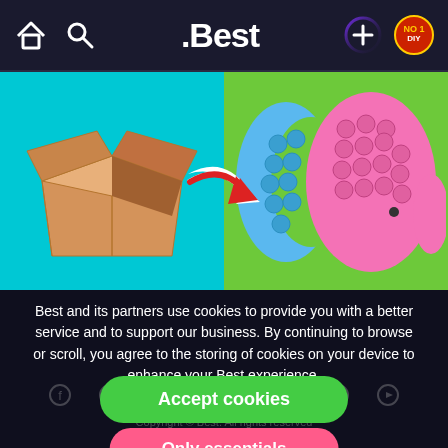.Best
[Figure (screenshot): Split image: left half shows an open cardboard box on cyan background; right half shows colorful pop-it fidget toys (fish/moon shapes) on green background with a red arrow pointing right between them.]
Best and its partners use cookies to provide you with a better service and to support our business. By continuing to browse or scroll, you agree to the storing of cookies on your device to enhance your Best experience.
Accept cookies
Copyright © Best. All rights reserved
Only essentials
Privacy  Guidelines  Standards  Terms of use
Legal Information
Learn more about our privacy policy.